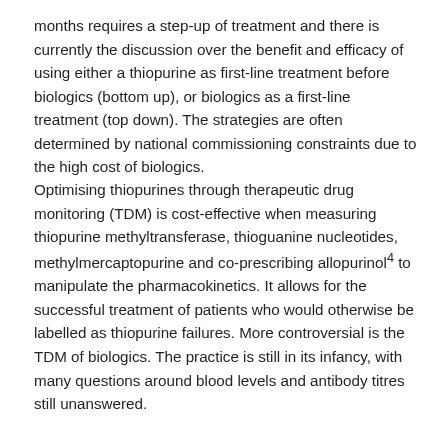months requires a step-up of treatment and there is currently the discussion over the benefit and efficacy of using either a thiopurine as first-line treatment before biologics (bottom up), or biologics as a first-line treatment (top down). The strategies are often determined by national commissioning constraints due to the high cost of biologics.
Optimising thiopurines through therapeutic drug monitoring (TDM) is cost-effective when measuring thiopurine methyltransferase, thioguanine nucleotides, methylmercaptopurine and co-prescribing allopurinol⁴ to manipulate the pharmacokinetics. It allows for the successful treatment of patients who would otherwise be labelled as thiopurine failures. More controversial is the TDM of biologics. The practice is still in its infancy, with many questions around blood levels and antibody titres still unanswered.